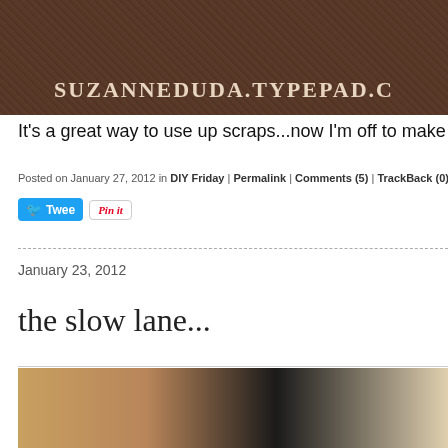[Figure (photo): Blog header banner with wood/bark texture background and text SUZANNEDUDA.TYPEPAD.C (truncated)]
It's a great way to use up scraps...now I'm off to make
Posted on January 27, 2012 in DIY Friday | Permalink | Comments (5) | TrackBack (0)
[Figure (screenshot): Social sharing buttons: Tweet button (blue with Twitter bird icon) and Pin It button (white with red Pinterest text)]
January 23, 2012
the slow lane...
[Figure (photo): Photo of a bedroom with wooden furniture and white pillow/bedding visible]